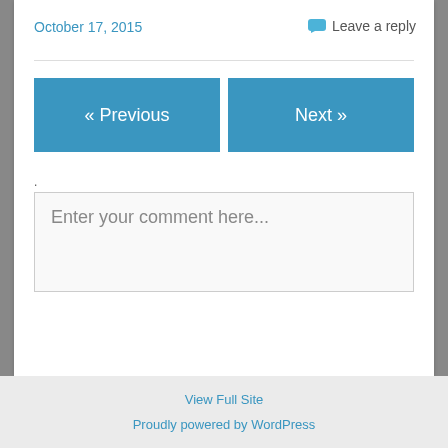October 17, 2015
Leave a reply
« Previous
Next »
.
Enter your comment here...
View Full Site
Proudly powered by WordPress